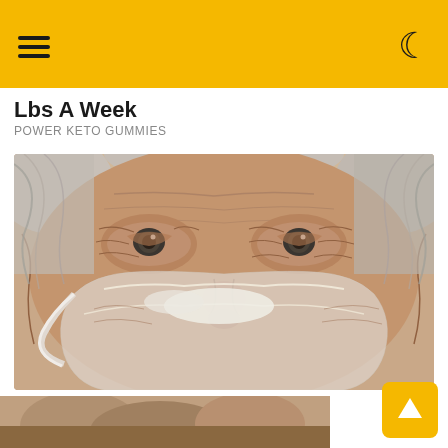Lbs A Week
POWER KETO GUMMIES
[Figure (photo): Close-up of an elderly woman's face showing wrinkles, with a clear face mask being peeled off over the nose and cheek area.]
73-Year-Old Woman With Baby Face. Here's What She Does Before Bed
DERMA GLOW
[Figure (photo): Partial photo at bottom of page, cropped view of hands or body.]